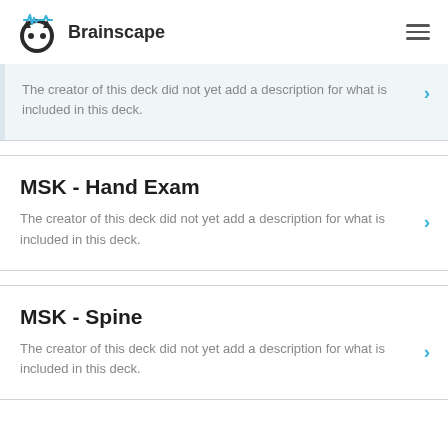Brainscape
The creator of this deck did not yet add a description for what is included in this deck.
MSK - Hand Exam
The creator of this deck did not yet add a description for what is included in this deck.
MSK - Spine
The creator of this deck did not yet add a description for what is included in this deck.